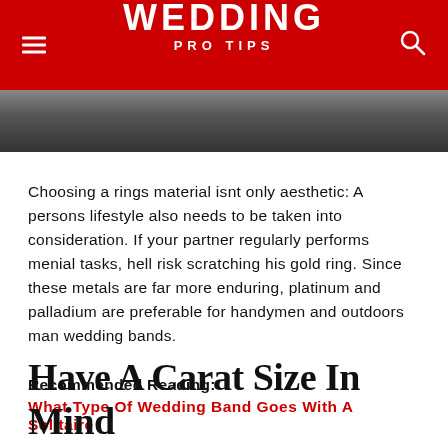WEDDING PRO TIPS
[Figure (photo): Dark/blurred photo strip at top of article, partial view of a ring or wedding-related image]
Choosing a rings material isnt only aesthetic: A persons lifestyle also needs to be taken into consideration. If your partner regularly performs menial tasks, hell risk scratching his gold ring. Since these metals are far more enduring, platinum and palladium are preferable for handymen and outdoors man wedding bands.
Recommended Reading:
What Type Of Wedding Band Goes With A Solitaire
Have A Carat Size In Mind